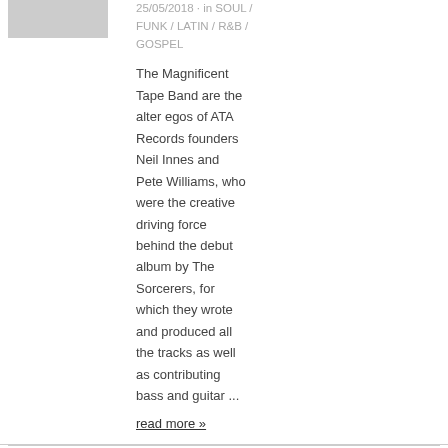[Figure (photo): Small thumbnail image of a vinyl record label]
25/05/2018 · in SOUL / FUNK / LATIN / R&B / GOSPEL
The Magnificent Tape Band are the alter egos of ATA Records founders Neil Innes and Pete Williams, who were the creative driving force behind the debut album by The Sorcerers, for which they wrote and produced all the tracks as well as contributing bass and guitar ...
read more »
[Figure (photo): Small thumbnail placeholder image]
MAHOANEY, SKIP